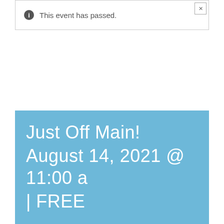This event has passed.
Just Off Main!
August 14, 2021 @ 11:00 a
| FREE